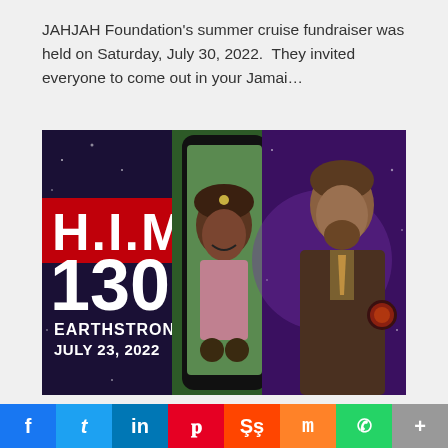JAHJAH Foundation's summer cruise fundraiser was held on Saturday, July 30, 2022. They invited everyone to come out in your Jamai…
[Figure (photo): Composite image showing 'H.I.M. 130 EARTHSTRONG JULY 23, 2022' text on dark starry background on the left, a woman smiling in a phone frame in the center, and Emperor Haile Selassie I portrait on the right against a purple starry background.]
Ethiopian Orthodox Tewahedo Faith • Event Spotlight
• Faith & Spirituality • H.I.M. Emperor Haile Selassie I Archive
f  t  in  p  s  m  WhatsApp  +